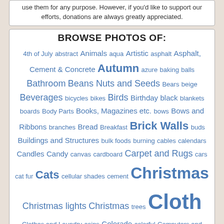use them for any purpose. However, if you'd like to support our efforts, donations are always greatly appreciated.
BROWSE PHOTOS OF:
4th of July abstract Animals aqua Artistic asphalt Asphalt, Cement & Concrete Autumn azure baking balls Bathroom Beans Nuts and Seeds Bears beige Beverages bicycles bikes Birds Birthday black blankets boards Body Parts Books, Magazines etc. bows Bows and Ribbons branches Bread Breakfast Brick Walls buds Buildings and Structures bulk foods burning cables calendars Candles Candy canvas cardboard Carpet and Rugs cars cat fur Cats cellular shades cement Christmas Christmas lights Christmas trees Cloth Clothes and Laundry coins Colorado colorful Computers and Electronics concrete Containers cookies cooking Cosmetics and Personal Care countertops Cows crabapples cream curtains cute dark darkness decorations denim Desserts diamonds dictionary Dishes, Glassware & Silverware Dogs dots drawing drops Easter eggs electricity Elephants evergreens faces fences Fireworks Fish Flags flames fleece Floors Flowers Food Foxes Wolves & Wild Dogs Frogs frost fruit Fruits and Veggies fuchsia funny fur Furniture garbage Garden geese geology Giraffes gold grades grass grid Halloween Hearts Hippos holes Hooved Horses